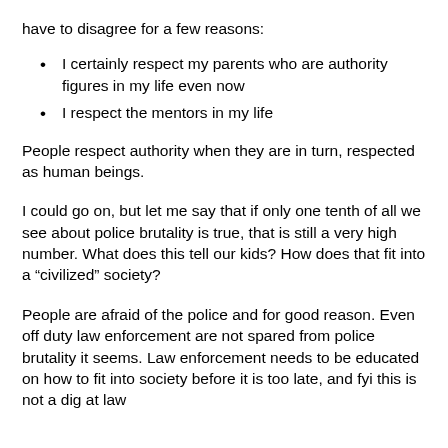have to disagree for a few reasons:
I certainly respect my parents who are authority figures in my life even now
I respect the mentors in my life
People respect authority when they are in turn, respected as human beings.
I could go on, but let me say that if only one tenth of all we see about police brutality is true, that is still a very high number. What does this tell our kids? How does that fit into a “civilized” society?
People are afraid of the police and for good reason. Even off duty law enforcement are not spared from police brutality it seems. Law enforcement needs to be educated on how to fit into society before it is too late, and fyi this is not a dig at law